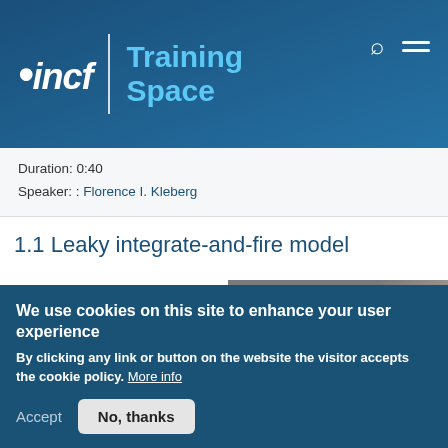incf | Training Space
Duration: 0:40
Speaker: : Florence I. Kleberg
1.1 Leaky integrate-and-fire model
Course: Computational Modeling of Neuronal
[Figure (screenshot): Video thumbnail showing a chalkboard with handwritten text '1.1 Leaky Integrate-and-Fire Model' and a person partially visible]
We use cookies on this site to enhance your user experience
By clicking any link or button on the website the visitor accepts the cookie policy. More info
Accept   No, thanks